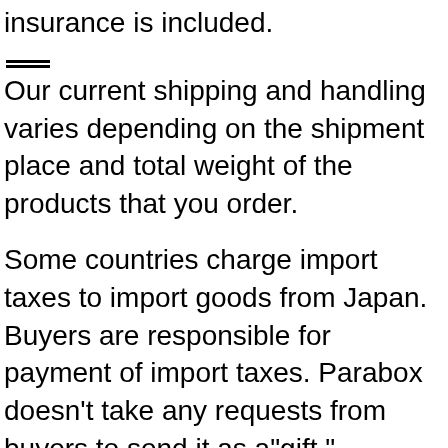insurance is included.
Our current shipping and handling varies depending on the shipment place and total weight of the products that you order.
Some countries charge import taxes to import goods from Japan. Buyers are responsible for payment of import taxes. Parabox doesn't take any requests from buyers to send it as a"gift."
If you would like to have your package shipped to an address in Japan, we offer you the same shipping services and payment methods our Japanese website